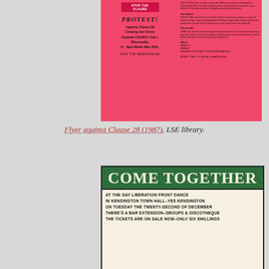[Figure (photo): Pink protest flyer against Clause 28 coming into force. Left side has 'PROTEST!' heading and details: 'Against Clause 28 Coming into Force Outside COUNTY HALL (Riverside). 6 - 8pm Weds May 25th. JOIN THE RESISTANCE!' Right side has small text explaining Section 28 of the Local Government Act 1988, with sections headed 'The Place', 'The Local!', 'Who!!' and 'STOP THE CLAUSE CAMPAIGN' at the bottom.]
Flyer against Clause 28 (1987). LSE library.
[Figure (photo): Black and white flyer for Gay Liberation Front event. Large bold text 'COME TOGETHER' at top on dark background. Below reads: 'AT THE GAY LIBERATION FRONT DANCE IN KENSINGTON TOWN HALL–YES KENSINGTON ON TUESDAY THE TWENTY-SECOND OF DECEMBER THERE'S A BAR EXTENSION–GROUPS & DISCOTHEQUE THE TICKETS ARE ON SALE NOW–ONLY SIX SHILLINGS']